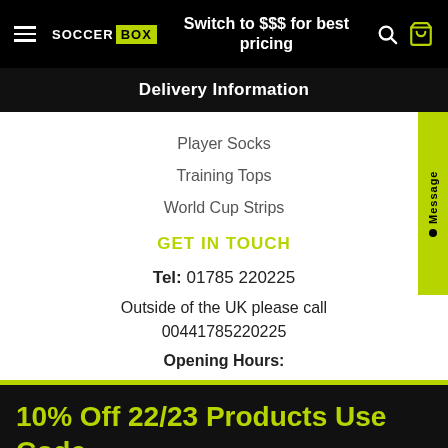[Figure (screenshot): Soccer Box logo with yellow box label, hamburger menu, search icon, and yellow cart icon in black navigation bar]
Switch to $$$ for best pricing
Delivery Information
Player Socks
Training Tops
World Cup Strips
GET IN TOUCH
Tel: 01785 220225
Outside of the UK please call 00441785220225
Opening Hours:
10% Off 22/23 Products Use Code 2223FLASH - Royal Mail Delays